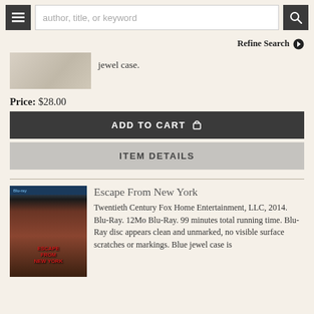author, title, or keyword [search bar with menu and search buttons]
Refine Search
jewel case.
Price: $28.00
ADD TO CART
ITEM DETAILS
Escape From New York
Twentieth Century Fox Home Entertainment, LLC, 2014. Blu-Ray. 12Mo Blu-Ray. 99 minutes total running time. Blu-Ray disc appears clean and unmarked, no visible surface scratches or markings. Blue jewel case is